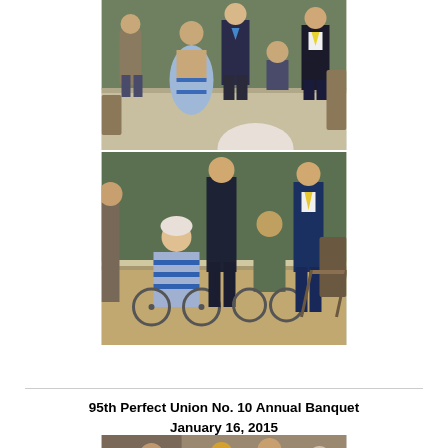[Figure (photo): Two stacked photos from an event in a room with green walls. Top photo shows a group of people standing, including a woman in a blue dress and several men in suits. Bottom photo shows two people in wheelchairs with men in suits standing nearby.]
95th Perfect Union No. 10 Annual Banquet January 16, 2015
[Figure (photo): Photo of people at the 95th Perfect Union No. 10 Annual Banquet, January 16, 2015, standing and mingling in a room.]